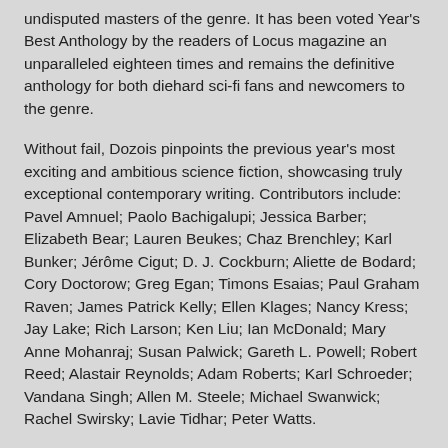undisputed masters of the genre. It has been voted Year's Best Anthology by the readers of Locus magazine an unparalleled eighteen times and remains the definitive anthology for both diehard sci-fi fans and newcomers to the genre.
Without fail, Dozois pinpoints the previous year's most exciting and ambitious science fiction, showcasing truly exceptional contemporary writing. Contributors include: Pavel Amnuel; Paolo Bachigalupi; Jessica Barber; Elizabeth Bear; Lauren Beukes; Chaz Brenchley; Karl Bunker; Jérôme Cigut; D. J. Cockburn; Aliette de Bodard; Cory Doctorow; Greg Egan; Timons Esaias; Paul Graham Raven; James Patrick Kelly; Ellen Klages; Nancy Kress; Jay Lake; Rich Larson; Ken Liu; Ian McDonald; Mary Anne Mohanraj; Susan Palwick; Gareth L. Powell; Robert Reed; Alastair Reynolds; Adam Roberts; Karl Schroeder; Vandana Singh; Allen M. Steele; Michael Swanwick; Rachel Swirsky; Lavie Tidhar; Peter Watts.
The Mammoth Book of Best New SF 28 includes, as ever, Dozois's extensive recommended reading guide and his